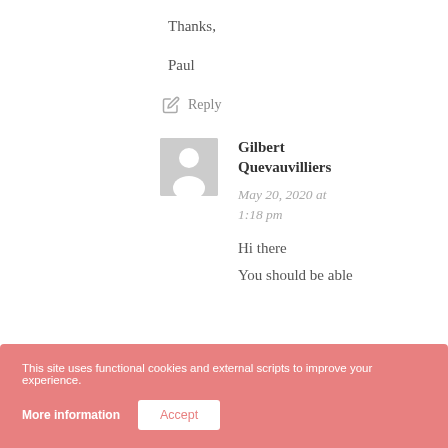Thanks,
Paul
✏ Reply
[Figure (illustration): Gray placeholder avatar image of a person silhouette]
Gilbert Quevauvilliers
May 20, 2020 at 1:18 pm
Hi there
You should be able
This site uses functional cookies and external scripts to improve your experience.
More information
Accept